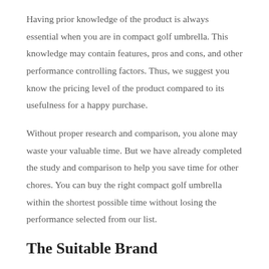Having prior knowledge of the product is always essential when you are in compact golf umbrella. This knowledge may contain features, pros and cons, and other performance controlling factors. Thus, we suggest you know the pricing level of the product compared to its usefulness for a happy purchase.
Without proper research and comparison, you alone may waste your valuable time. But we have already completed the study and comparison to help you save time for other chores. You can buy the right compact golf umbrella within the shortest possible time without losing the performance selected from our list.
The Suitable Brand
Check out the manufacturer's reputation in the current market before buying the quality compact golf umbrella. The desired compact golf umbrella will be efficient if you discover everything trustworthy and user-friendly. So, you can compare brands and